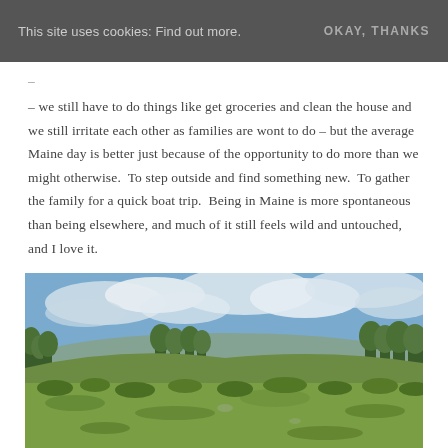This site uses cookies: Find out more.    OKAY, THANKS
– we still have to do things like get groceries and clean the house and we still irritate each other as families are wont to do – but the average Maine day is better just because of the opportunity to do more than we might otherwise.  To step outside and find something new.  To gather the family for a quick boat trip.  Being in Maine is more spontaneous than being elsewhere, and much of it still feels wild and untouched, and I love it.
[Figure (photo): A panoramic landscape photograph of a meadow with low shrubs and grasses in the foreground, a tree line of mixed trees in the middle distance, and a partly cloudy blue sky with white cumulus clouds above.]